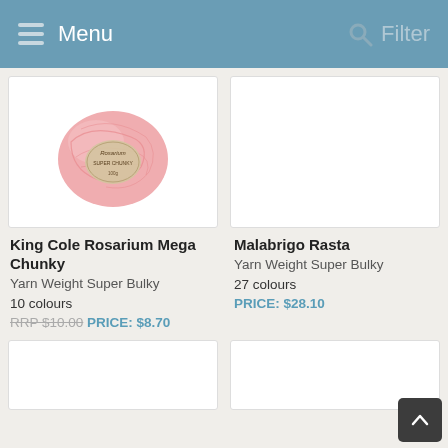Menu   Filter
[Figure (photo): Pink ball of King Cole Rosarium Mega Chunky yarn with label]
King Cole Rosarium Mega Chunky
Yarn Weight Super Bulky

10 colours

RRP $10.00 PRICE: $8.70
[Figure (photo): Empty white product image box for Malabrigo Rasta]
Malabrigo Rasta
Yarn Weight Super Bulky

27 colours

PRICE: $28.10
[Figure (photo): Partial empty product image box (bottom left)]
[Figure (photo): Partial empty product image box (bottom right)]